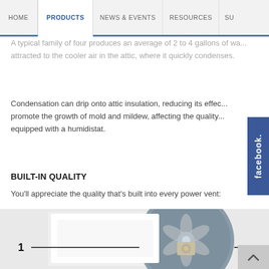HOME  PRODUCTS  NEWS & EVENTS  RESOURCES  SU...
A typical family of four produces an average of 2 to 4 gallons of w... attracted to the cooler air in the attic, where it quickly condenses.
Condensation can drip onto attic insulation, reducing its effec... promote the growth of mold and mildew, affecting the quality... equipped with a humidistat.
BUILT-IN QUALITY
You'll appreciate the quality that's built into every power vent:
[Figure (photo): Product photo of a power vent fan unit with a gray circular cover, showing internal fan blades and hardware. Number '1' label with a line pointing to a part of the product.]